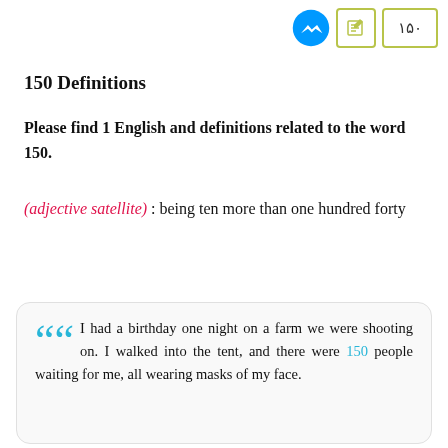[Figure (other): Header icons: Facebook Messenger logo (blue), edit/document icon in yellow-green border, and a box showing '۱۵۰' in Persian numerals in yellow-green border]
150 Definitions
Please find 1 English and definitions related to the word 150.
(adjective satellite) : being ten more than one hundred forty
I had a birthday one night on a farm we were shooting on. I walked into the tent, and there were 150 people waiting for me, all wearing masks of my face.